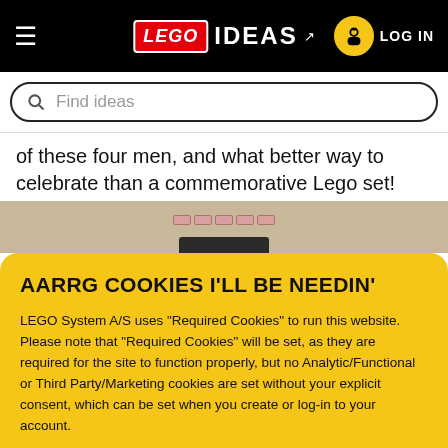LEGO IDEAS — LOG IN
Find ideas
of these four men, and what better way to celebrate than a commemorative Lego set!
[Figure (photo): Partial view of a LEGO build on a tan/beige background with some pink/rose colored bricks and a dark strip]
AARRG COOKIES I'LL BE NEEDIN'
LEGO System A/S uses "Required Cookies" to run this website. Please note that "Required Cookies" will be set, as they are required for the site to function properly, but no Analytic/Functional or Third Party/Marketing cookies are set without your explicit consent, which can be set when you create or log-in to your account.
OK
[Figure (illustration): LEGO pirate minifigure with a pirate hat, skull and crossbones, eyepatch, and a blue parrot on shoulder]